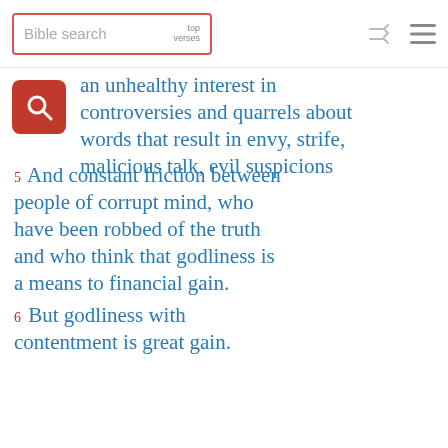Bible search | top verses
an unhealthy interest in controversies and quarrels about words that result in envy, strife, malicious talk, evil suspicions
5 And constant friction between people of corrupt mind, who have been robbed of the truth and who think that godliness is a means to financial gain.
6 But godliness with contentment is great gain.
7 For we brought nothing into the world, and we can take nothing out of it.
8 But if we have food and clothing, we will be content